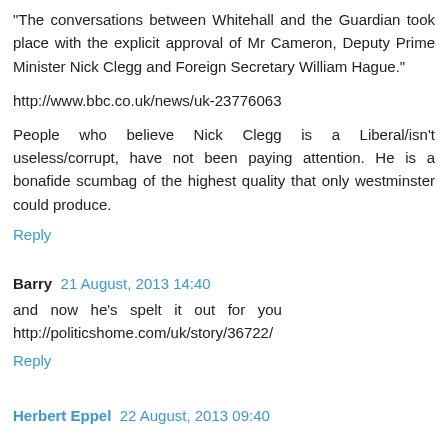"The conversations between Whitehall and the Guardian took place with the explicit approval of Mr Cameron, Deputy Prime Minister Nick Clegg and Foreign Secretary William Hague."
http://www.bbc.co.uk/news/uk-23776063
People who believe Nick Clegg is a Liberal/isn't useless/corrupt, have not been paying attention. He is a bonafide scumbag of the highest quality that only westminster could produce.
Reply
Barry  21 August, 2013 14:40
and now he's spelt it out for you http://politicshome.com/uk/story/36722/
Reply
Herbert Eppel  22 August, 2013 09:40